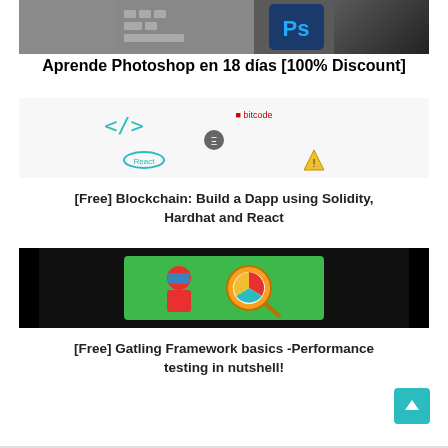[Figure (screenshot): Photoshop course thumbnail showing keyboard and Ps logo on dark background]
Aprende Photoshop en 18 días [100% Discount]
[Figure (screenshot): Blockchain Dapp course thumbnail showing code brackets, Ethereum, React and warning icons on light background]
[Free] Blockchain: Build a Dapp using Solidity, Hardhat and React
[Figure (screenshot): Gatling Framework course thumbnail showing person with VR goggles and magnifying glass on green and black background]
[Free] Gatling Framework basics -Performance testing in nutshell!